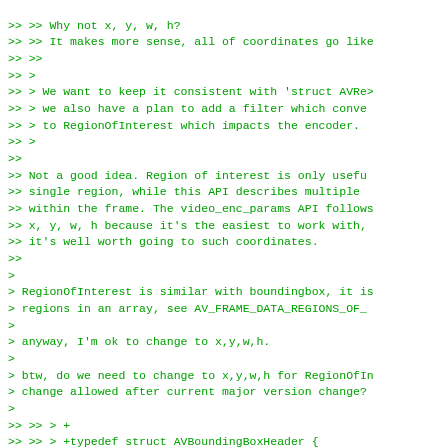>> >> Why not x, y, w, h?
>> >> It makes more sense, all of coordinates go like
>> >>
>> >
>> > We want to keep it consistent with 'struct AVReg
>> > we also have a plan to add a filter which conve
>> > to RegionOfInterest which impacts the encoder.
>> >
>>
>> Not a good idea. Region of interest is only usefu
>> single region, while this API describes multiple 
>> within the frame. The video_enc_params API follows
>> x, y, w, h because it's the easiest to work with,
>> it's well worth going to such coordinates.
>>
>
> RegionOfInterest is similar with boundingbox, it is
> regions in an array, see AV_FRAME_DATA_REGIONS_OF_
>
> anyway, I'm ok to change to x,y,w,h.
>
> btw, do we need to change to x,y,w,h for RegionOfIn
> change allowed after current major version change?
>
>> >> > +
>> >> > +typedef struct AVBoundingBoxHeader {
>> >> > +    /**
>> >> > +     * Information about how the bounding bo
>> >> > +     * for example, the DNN model name.
>> >> > +     */
>> >> > +    char source[128];